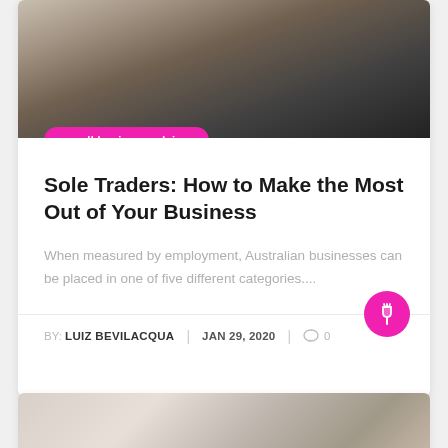[Figure (photo): Hero image of a man with crossed arms standing in front of a white vehicle]
small business advice
Sole Traders: How to Make the Most Out of Your Business
When measured by employment, Australian businesses can be placed in one of five different categories....
BY: LUIZ BEVILACQUA | JAN 29, 2020 | 0
[Figure (photo): Partial photo at bottom of page showing hands, partially cropped]